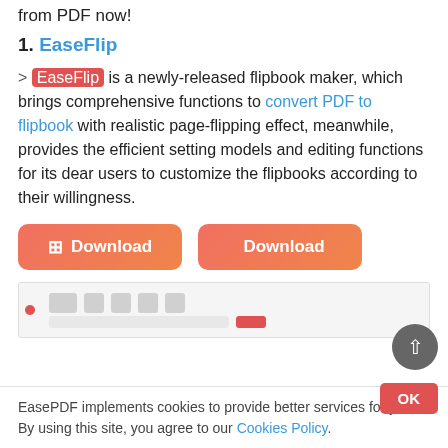from PDF now!
1. EaseFlip
> EaseFlip is a newly-released flipbook maker, which brings comprehensive functions to convert PDF to flipbook with realistic page-flipping effect, meanwhile, provides the efficient setting models and editing functions for its dear users to customize the flipbooks according to their willingness.
[Figure (other): Two orange download buttons: one with Windows icon labeled Download, one with Apple icon labeled Download]
[Figure (screenshot): Screenshot of EaseFlip software interface showing toolbar and import PDF dialog]
EasePDF implements cookies to provide better services for you. By using this site, you agree to our Cookies Policy.